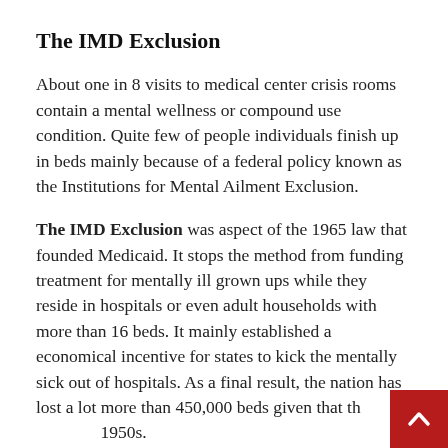The IMD Exclusion
About one in 8 visits to medical center crisis rooms contain a mental wellness or compound use condition. Quite few of people individuals finish up in beds mainly because of a federal policy known as the Institutions for Mental Ailment Exclusion.
The IMD Exclusion was aspect of the 1965 law that founded Medicaid. It stops the method from funding treatment for mentally ill grown ups while they reside in hospitals or even adult households with more than 16 beds. It mainly established a economical incentive for states to kick the mentally sick out of hospitals. As a final result, the nation has lost a lot more than 450,000 beds given that the 1950s.